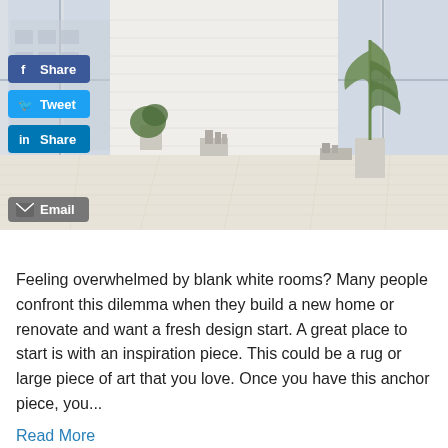[Figure (photo): Minimalist bright white room interior with white brick wall, large windows, light wood flooring, a tall green plant in a white pot on the right, books and a pencil cup in the center, small green plant on the left, with social media share buttons (Facebook Share, Tweet, LinkedIn Share) overlaid on the left side and an Email button at the bottom left of the image.]
Feeling overwhelmed by blank white rooms? Many people confront this dilemma when they build a new home or renovate and want a fresh design start. A great place to start is with an inspiration piece. This could be a rug or large piece of art that you love. Once you have this anchor piece, you...
Read More